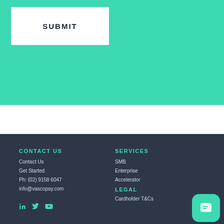[Figure (other): SUBMIT button - white rectangle on teal background]
CONTACT US
Contact Us
Get Started
Ph: (02) 9158 6047
info@vascopay.com
[Figure (other): Social media icons: LinkedIn, Twitter, YouTube]
SERVICES
SMB
Enterprise
Accelerator
LEGAL
Cardholder T&Cs
[Figure (other): Chat button widget - teal rounded square with chat icon]